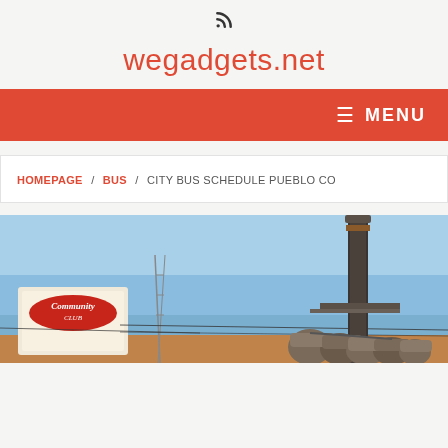RSS icon + wegadgets.net header
wegadgets.net
MENU navigation bar
HOMEPAGE / BUS / CITY BUS SCHEDULE PUEBLO CO
[Figure (photo): Street scene in Pueblo, CO showing the Community Club sign and industrial steel mill smokestacks against a blue sky]